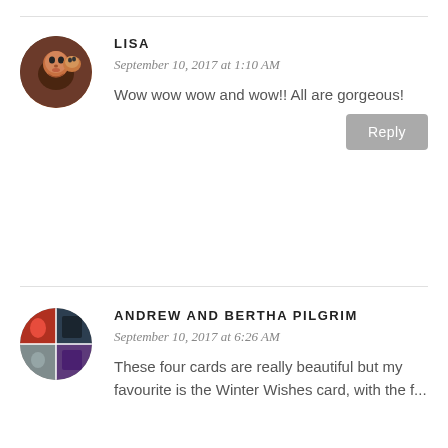LISA
September 10, 2017 at 1:10 AM
Wow wow wow and wow!! All are gorgeous!
Reply
ANDREW AND BERTHA PILGRIM
September 10, 2017 at 6:26 AM
These four cards are really beautiful but my favourite is the Winter Wishes card, with the f...